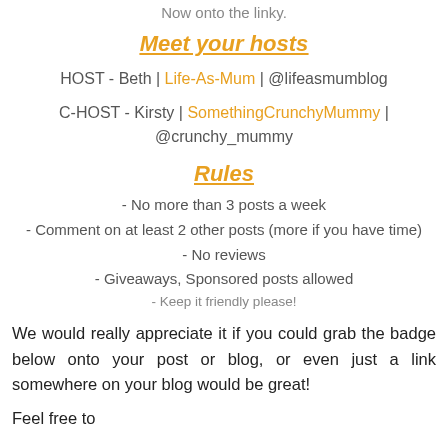Now onto the linky.
Meet your hosts
HOST - Beth | Life-As-Mum | @lifeasmumblog
C-HOST - Kirsty | SomethingCrunchyMummy | @crunchy_mummy
Rules
- No more than 3 posts a week
- Comment on at least 2 other posts (more if you have time)
- No reviews
- Giveaways, Sponsored posts allowed
- Keep it friendly please!
We would really appreciate it if you could grab the badge below onto your post or blog, or even just a link somewhere on your blog would be great!
Feel free to